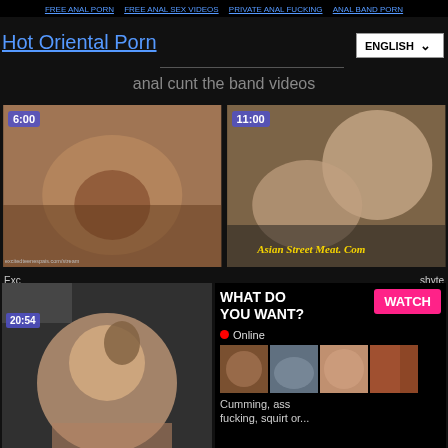FREE ANAL PORN | FREE ANAL SEX VIDEOS | PRIVATE ANAL FUCKING | ANAL BAND PORN
Hot Oriental Porn
ENGLISH
anal cunt the band videos
[Figure (screenshot): Video thumbnail showing closeup content with duration badge 6:00 and watermark excitedsweetspain.com/stream]
[Figure (screenshot): Video thumbnail with duration badge 11:00 and watermark ASIAN STREET MEAT. COM]
Exc
[Figure (screenshot): Video thumbnail with duration badge 20:54]
WHAT DO YOU WANT?
WATCH
Online
shyte
Cumming, ass fucking, squirt or...